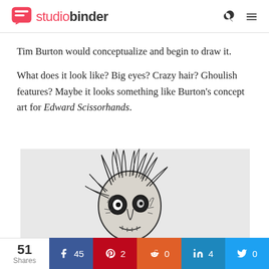studiobinder
Tim Burton would conceptualize and begin to draw it.
What does it look like? Big eyes? Crazy hair? Ghoulish features? Maybe it looks something like Burton's concept art for Edward Scissorhands.
[Figure (illustration): Tim Burton concept art sketch of Edward Scissorhands — a ghoulish face with wild hair, large hollow eyes, and stitched features, drawn in black ink on white background.]
51 Shares | Facebook 45 | Pinterest 2 | Reddit 0 | LinkedIn 4 | Twitter 0